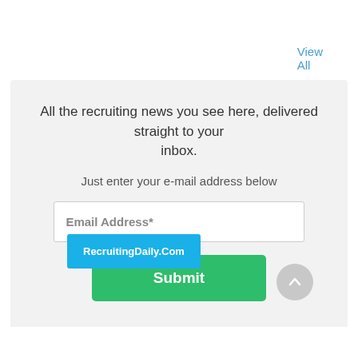View All
All the recruiting news you see here, delivered straight to your inbox.

Just enter your e-mail address below
[Figure (screenshot): Email Address* input field and Submit button inside a light gray signup box]
RecruitingDaily.Com